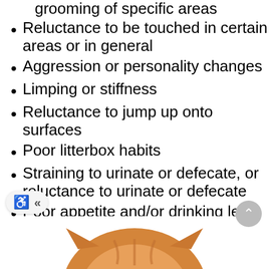grooming of specific areas
Reluctance to be touched in certain areas or in general
Aggression or personality changes
Limping or stiffness
Reluctance to jump up onto surfaces
Poor litterbox habits
Straining to urinate or defecate, or reluctance to urinate or defecate
Poor appetite and/or drinking less water
Lethargy
Hunched body posture and/or “pinched” facial expression
Increased heart rate and/or breathing rate
[Figure (photo): Bottom portion of a cat image, showing the top of a cat's head with orange/tabby fur]